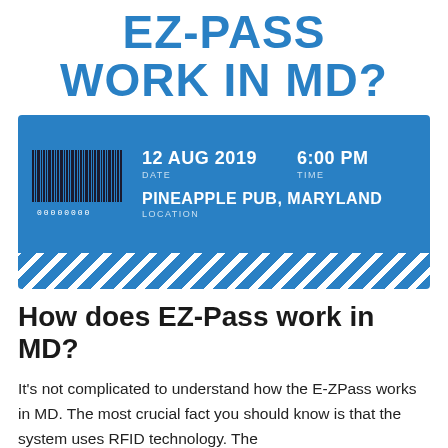EZ-PASS WORK IN MD?
[Figure (infographic): A blue event ticket graphic showing a barcode on the left, date '12 AUG 2019', time '6:00 PM', and location 'PINEAPPLE PUB, MARYLAND', with a diagonal stripe pattern at the bottom.]
How does EZ-Pass work in MD?
It's not complicated to understand how the E-ZPass works in MD. The most crucial fact you should know is that the system uses RFID technology. The